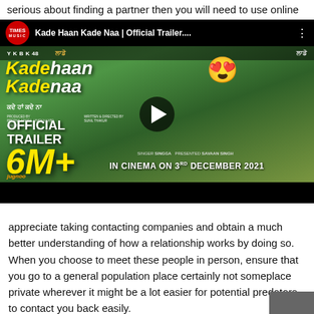serious about finding a partner then you will need to use online
[Figure (screenshot): YouTube-style video thumbnail for 'Kade Haan Kade Naa | Official Trailer' by Times Music. Shows two actors on a green background with the movie title in yellow/white, '6M+' views, 'OFFICIAL TRAILER', and 'IN CINEMA ON 3RD DECEMBER 2021' text. A play button is visible in the center.]
appreciate taking contacting companies and obtain a much better understanding of how a relationship works by doing so. When you choose to meet these people in person, ensure that you go to a general population place certainly not someplace private wherever it might be a lot easier for potential predators to contact you back easily.